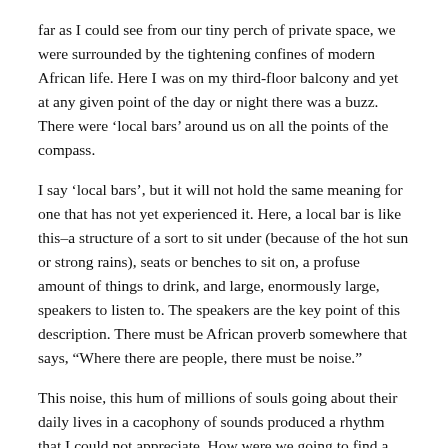far as I could see from our tiny perch of private space, we were surrounded by the tightening confines of modern African life. Here I was on my third-floor balcony and yet at any given point of the day or night there was a buzz. There were ‘local bars’ around us on all the points of the compass.
I say ‘local bars’, but it will not hold the same meaning for one that has not yet experienced it. Here, a local bar is like this–a structure of a sort to sit under (because of the hot sun or strong rains), seats or benches to sit on, a profuse amount of things to drink, and large, enormously large, speakers to listen to. The speakers are the key point of this description. There must be African proverb somewhere that says, “Where there are people, there must be noise.”
This noise, this hum of millions of souls going about their daily lives in a cacophony of sounds produced a rhythm that I could not appreciate. How were we going to find a home here? How could we have a space while having nothing, knowing no one, with little that we saw as normal at our disposal? What I did not know then was that